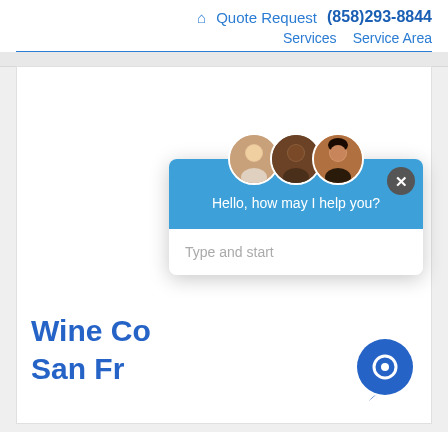🏠 Quote Request (858)293-8844 Services Service Area
[Figure (screenshot): Website screenshot showing a chat popup overlay with three agent avatars, message 'Hello, how may I help you?', and a text input area saying 'Type and start'. Bottom right has a blue chat bubble icon. Behind the popup, partially visible page title reads 'Wine Co... San Fr...']
Wine Co... San Fr...